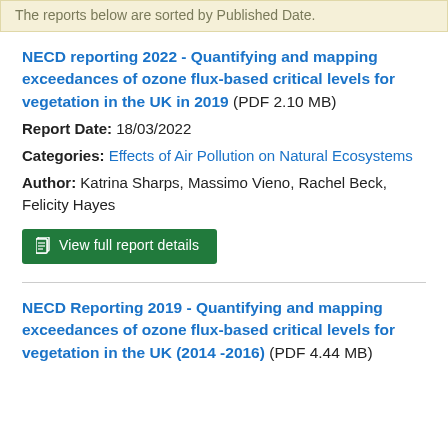The reports below are sorted by Published Date.
NECD reporting 2022 - Quantifying and mapping exceedances of ozone flux-based critical levels for vegetation in the UK in 2019 (PDF 2.10 MB)
Report Date: 18/03/2022
Categories: Effects of Air Pollution on Natural Ecosystems
Author: Katrina Sharps, Massimo Vieno, Rachel Beck, Felicity Hayes
View full report details
NECD Reporting 2019 - Quantifying and mapping exceedances of ozone flux-based critical levels for vegetation in the UK (2014 -2016) (PDF 4.44 MB)